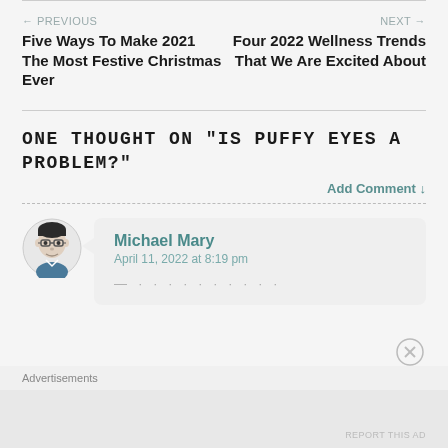← PREVIOUS
Five Ways To Make 2021 The Most Festive Christmas Ever
NEXT →
Four 2022 Wellness Trends That We Are Excited About
ONE THOUGHT ON "IS PUFFY EYES A PROBLEM?"
Add Comment ↓
Michael Mary
April 11, 2022 at 8:19 pm
Advertisements
REPORT THIS AD